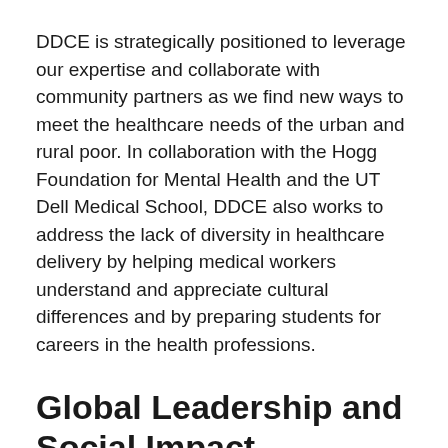DDCE is strategically positioned to leverage our expertise and collaborate with community partners as we find new ways to meet the healthcare needs of the urban and rural poor. In collaboration with the Hogg Foundation for Mental Health and the UT Dell Medical School, DDCE also works to address the lack of diversity in healthcare delivery by helping medical workers understand and appreciate cultural differences and by preparing students for careers in the health professions.
Global Leadership and Social Impact
The DDCE's award-winning global programs give